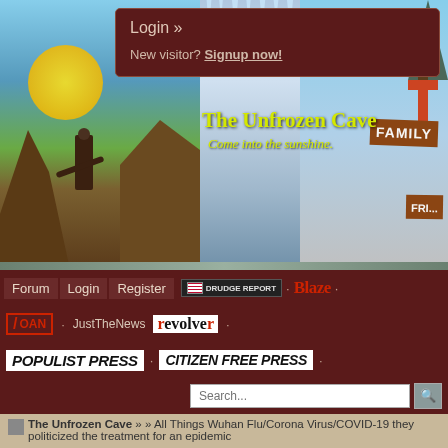[Figure (screenshot): Website header banner for 'The Unfrozen Cave' showing illustrated figure on rocky cliff with sun on left side, waterfall/cave imagery in center, and wooden signs reading FAITH, FAMILY on right. Yellow title text 'The Unfrozen Cave' and subtitle 'Come into the sunshine.']
Login »
New visitor? Signup now!
Forum  Login  Register  DRUDGE REPORT  .  Blaze  .
OAN  .  JustTheNews  revolver  .
POPULIST PRESS  .  CITIZEN FREE PRESS  .
Search...
The Unfrozen Cave » » All Things Wuhan Flu/Corona Virus/COVID-19 they politicized the treatment for an epidemic
Jump to  Unfrozen Cave Water Cooler  1